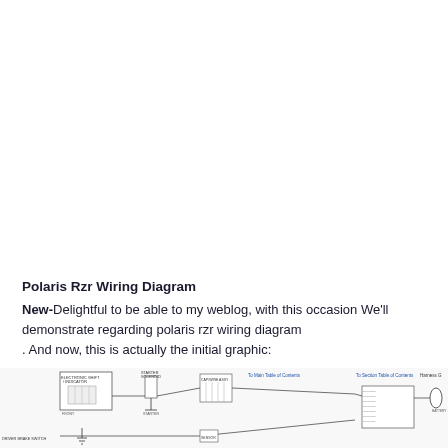Polaris Rzr Wiring Diagram
New-Delightful to be able to my weblog, with this occasion We'll demonstrate regarding polaris rzr wiring diagram. And now, this is actually the initial graphic:
[Figure (schematic): Partial wiring diagram for Polaris RZR showing electrical components including electronic shift indicator, starter solenoid, engine ground, connectors, and harness G, with labeled wires and connection points. Text labels include 'To Main Table of Contents', 'To Section Table of Contents', 'Harness G'.]